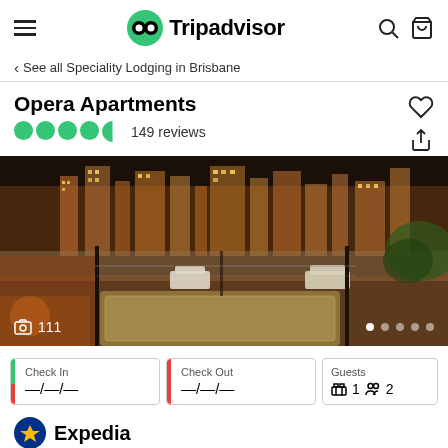Tripadvisor
< See all Speciality Lodging in Brisbane
Opera Apartments
149 reviews
[Figure (photo): Rooftop pool area at Opera Apartments with city skyline at night, featuring lounge chairs and warm lighting]
111 photos
Check In —/—/—
Check Out —/—/—
Guests 1 room, 2 guests
Expedia